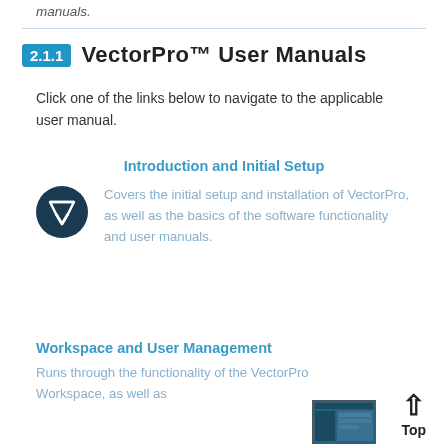manuals.
2.1.1  VectorPro™ User Manuals
Click one of the links below to navigate to the applicable user manual.
Introduction and Initial Setup
[Figure (logo): VectorPro circular logo icon with a downward-pointing chevron/V shape on a dark navy circle]
Covers the initial setup and installation of VectorPro, as well as the basics of the software functionality and user manuals.
Workspace and User Management
Runs through the functionality of the VectorPro Workspace, as well as
[Figure (screenshot): Small thumbnail screenshot of VectorPro workspace interface]